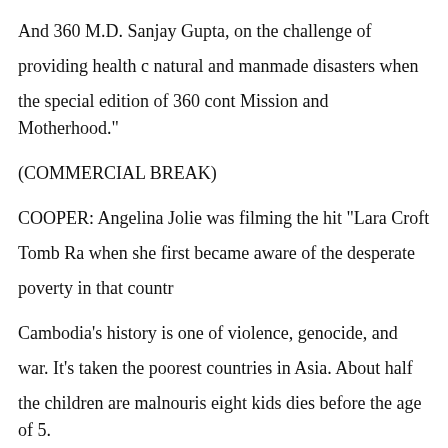And 360 M.D. Sanjay Gupta, on the challenge of providing health care in natural and manmade disasters when the special edition of 360 cont... Mission and Motherhood."
(COMMERCIAL BREAK)
COOPER: Angelina Jolie was filming the hit "Lara Croft Tomb Ra... when she first became aware of the desperate poverty in that countr...
Cambodia's history is one of violence, genocide, and war. It's taken... the poorest countries in Asia. About half the children are malnouris... eight kids dies before the age of 5.
This is where Angelina Jolie and Brad Pitt's son, Maddox, was born... he was adopted. Too young to remember the poverty, too young to r... he's had on his mother's life.